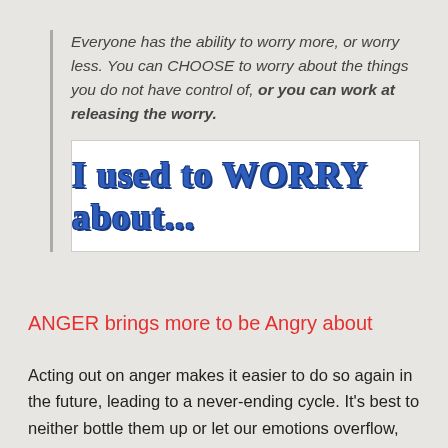Everyone has the ability to worry more, or worry less. You can CHOOSE to worry about the things you do not have control of, or you can work at releasing the worry.
[Figure (illustration): White banner/image with decorative blue bold text reading 'I used to WORRY about...']
ANGER brings more to be Angry about
Acting out on anger makes it easier to do so again in the future, leading to a never-ending cycle. It's best to neither bottle them up or let our emotions overflow, but to